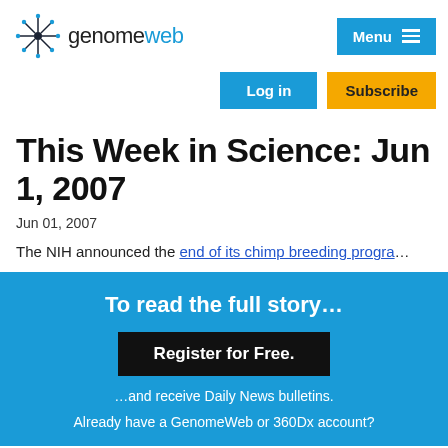genomeweb | Menu | Log in | Subscribe
This Week in Science: Jun 1, 2007
Jun 01, 2007
The NIH announced the end of its chimp breeding progra…
To read the full story…
Register for Free.
…and receive Daily News bulletins.
Already have a GenomeWeb or 360Dx account?